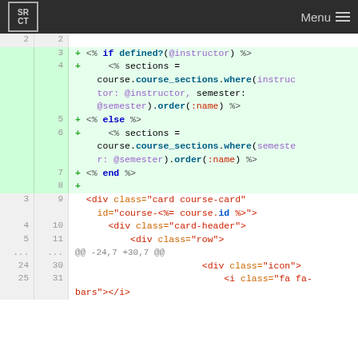SR CT  Menu
[Figure (screenshot): Code diff view showing Ruby ERB template code with added lines (green background) for conditional course_sections queries and HTML div elements]
2  2
3 + <% if defined?(@instructor) %>
4 +     <% sections = course.course_sections.where(instructor: @instructor, semester: @semester).order(:name) %>
5 + <% else %>
6 +     <% sections = course.course_sections.where(semester: @semester).order(:name) %>
7 + <% end %>
8 +
3  9    <div class="card course-card" id="course-<%= course.id %>">
4  10       <div class="card-header">
5  11           <div class="row">
...  ...  @@ -24,7 +30,7 @@
24 30                       <div class="icon">
25 31                           <i class="fa fa-bars"></i>